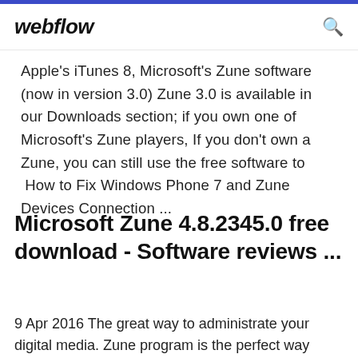webflow
Apple's iTunes 8, Microsoft's Zune software (now in version 3.0) Zune 3.0 is available in our Downloads section; if you own one of Microsoft's Zune players, If you don't own a Zune, you can still use the free software to  How to Fix Windows Phone 7 and Zune Devices Connection ...
Microsoft Zune 4.8.2345.0 free download - Software reviews ...
9 Apr 2016 The great way to administrate your digital media. Zune program is the perfect way to administrate your digital media with ...